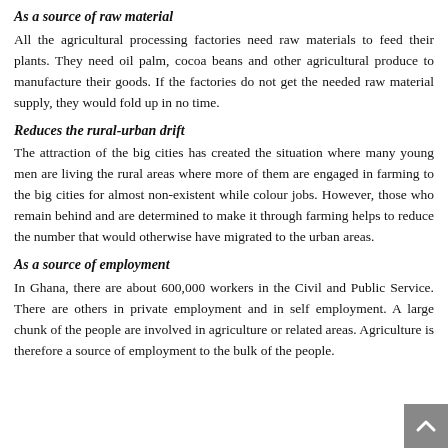As a source of raw material
All the agricultural processing factories need raw materials to feed their plants. They need oil palm, cocoa beans and other agricultural produce to manufacture their goods. If the factories do not get the needed raw material supply, they would fold up in no time.
Reduces the rural-urban drift
The attraction of the big cities has created the situation where many young men are living the rural areas where more of them are engaged in farming to the big cities for almost non-existent while colour jobs. However, those who remain behind and are determined to make it through farming helps to reduce the number that would otherwise have migrated to the urban areas.
As a source of employment
In Ghana, there are about 600,000 workers in the Civil and Public Service. There are others in private employment and in self employment. A large chunk of the people are involved in agriculture or related areas. Agriculture is therefore a source of employment to the bulk of the people.